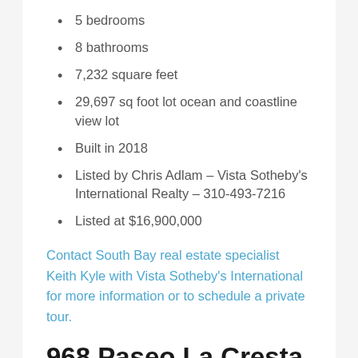5 bedrooms
8 bathrooms
7,232 square feet
29,697 sq foot lot ocean and coastline view lot
Built in 2018
Listed by Chris Adlam – Vista Sotheby's International Realty – 310-493-7216
Listed at $16,900,000
Contact South Bay real estate specialist Keith Kyle with Vista Sotheby's International for more information or to schedule a private tour.
968 Paseo La Cresta, Palos Verdes Estates, CA 90274